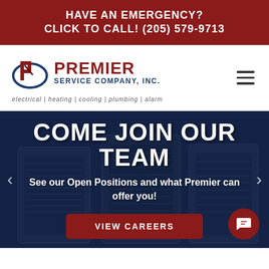HAVE AN EMERGENCY? CLICK TO CALL! (205) 579-9713
[Figure (logo): Premier Service Company, Inc. logo with stylized P icon in red and blue, with tagline: electrical | heating | cooling | plumbing | alarm]
COME JOIN OUR TEAM
See our Open Positions and what Premier can offer you!
VIEW CAREERS